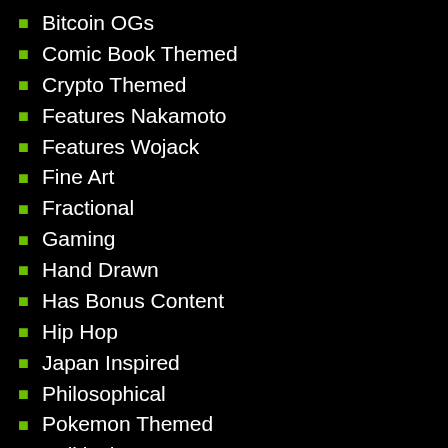Bitcoin OGs
Comic Book Themed
Crypto Themed
Features Nakamoto
Features Wojack
Fine Art
Fractional
Gaming
Hand Drawn
Has Bonus Content
Hip Hop
Japan Inspired
Philosophical
Pokemon Themed
Political
Rock n Roll
Series 1
Series 2
Series 3